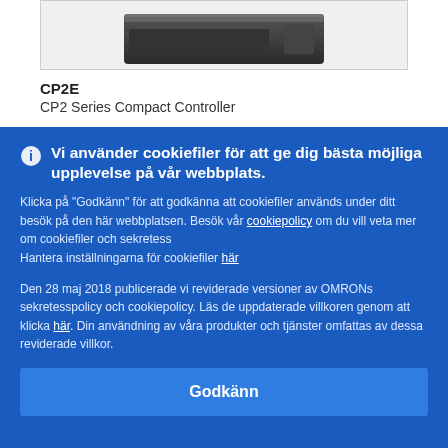[Figure (photo): Product image of CP2E CP2 Series Compact Controller, dark colored device shown partially at top]
CP2E
CP2 Series Compact Controller
Vi använder cookiefiler för att ge dig bästa möjliga upplevelse på vår webbplats.
Klicka på "Godkänn" för att godkänna att cookiefiler används under ditt besök på den här webbplatsen. Besök vår cookiepolicy om du vill veta mer om cookiefiler och sekretess
Hantera inställningarna för cookiefiler här
Den 28 maj 2018 publicerade vi reviderade versioner av OMRONs sekretesspolicy och cookiepolicy. Läs de uppdaterade villkoren genom att klicka här. Din användning av våra produkter och tjänster omfattas av dessa reviderade villkor.
Godkänn